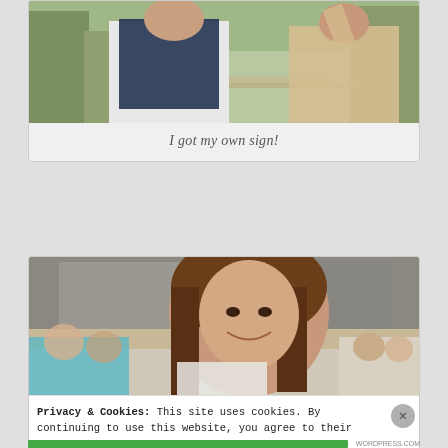[Figure (photo): Photo of a person holding a sign outdoors near trees and benches]
I got my own sign!
[Figure (photo): Photo of a smiling woman with brown hair at an event, with MDA signs and crowd visible in background]
Privacy & Cookies: This site uses cookies. By continuing to use this website, you agree to their use.
To find out more, including how to control cookies, see here: Cookie Policy
Close and accept